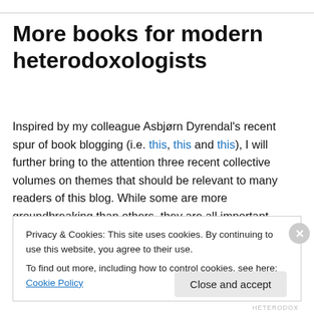More books for modern heterodoxologists
Inspired by my colleague Asbjørn Dyrendal's recent spur of book blogging (i.e. this, this and this), I will further bring to the attention three recent collective volumes on themes that should be relevant to many readers of this blog. While some are more groundbreaking than others, they are all important contributions to their fields, namely: NRM
Privacy & Cookies: This site uses cookies. By continuing to use this website, you agree to their use.
To find out more, including how to control cookies, see here: Cookie Policy
Close and accept